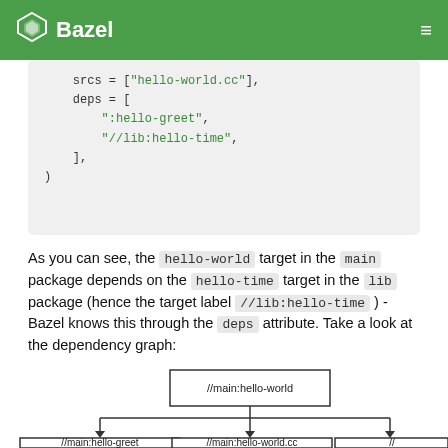Bazel
srcs = ["hello-world.cc"],
    deps = [
        ":hello-greet",
        "//lib:hello-time",
    ],
)
As you can see, the hello-world target in the main package depends on the hello-time target in the lib package (hence the target label //lib:hello-time ) - Bazel knows this through the deps attribute. Take a look at the dependency graph:
[Figure (flowchart): Dependency graph showing //main:hello-world at top, with arrows pointing down to //main:hello-greet, //main:hello-world.cc, and a partially visible third box on the right]